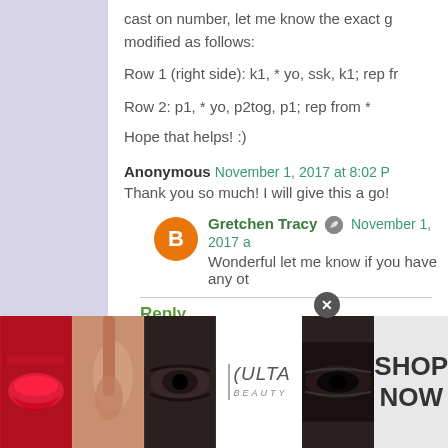cast on number, let me know the exact g modified as follows:
Row 1 (right side): k1, * yo, ssk, k1; rep fr
Row 2: p1, * yo, p2tog, p1; rep from *
Hope that helps! :)
Anonymous  November 1, 2017 at 8:02 
Thank you so much! I will give this a go!
Gretchen Tracy  November 1, 2017 a
Wonderful let me know if you have any ot
Reply
[Figure (screenshot): Ulta Beauty advertisement banner at the bottom of the page with makeup images]